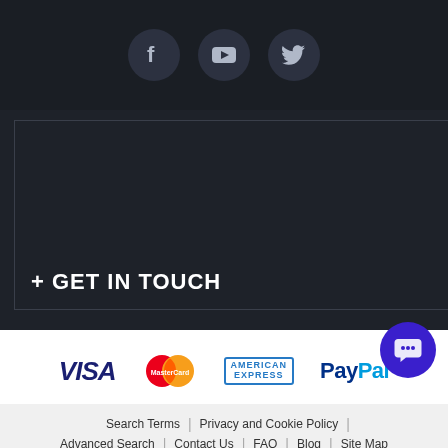[Figure (logo): Social media icons: Facebook, YouTube, Twitter in dark circular buttons]
+ GET IN TOUCH
[Figure (logo): Payment logos: VISA, MasterCard, American Express, PayPal]
Search Terms | Privacy and Cookie Policy | Advanced Search | Contact Us | FAQ | Blog | Site Map